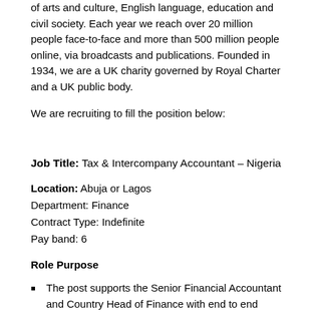of arts and culture, English language, education and civil society. Each year we reach over 20 million people face-to-face and more than 500 million people online, via broadcasts and publications. Founded in 1934, we are a UK charity governed by Royal Charter and a UK public body.
We are recruiting to fill the position below:
Job Title: Tax & Intercompany Accountant – Nigeria
Location: Abuja or Lagos
Department: Finance
Contract Type: Indefinite
Pay band: 6
Role Purpose
The post supports the Senior Financial Accountant and Country Head of Finance with end to end oversight of tax